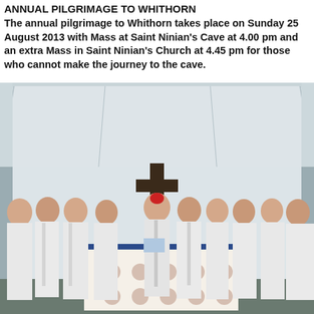ANNUAL PILGRIMAGE TO WHITHORN
The annual pilgrimage to Whithorn takes place on Sunday 25 August 2013 with Mass at Saint Ninian's Cave at 4.00 pm and an extra Mass in Saint Ninian's Church at 4.45 pm for those who cannot make the journey to the cave.
[Figure (photo): Photograph of a religious ceremony at Saint Ninian's Cave, Whithorn. Several priests in white vestments stand around an altar beneath a white canopy/tent structure. A dark wooden cross is mounted centrally in the background. A decorated altar cloth with floral pattern is visible in the foreground. A microphone stand is placed in front of the altar.]